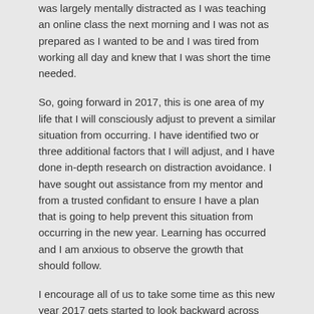was largely mentally distracted as I was teaching an online class the next morning and I was not as prepared as I wanted to be and I was tired from working all day and knew that I was short the time needed.
So, going forward in 2017, this is one area of my life that I will consciously adjust to prevent a similar situation from occurring. I have identified two or three additional factors that I will adjust, and I have done in-depth research on distraction avoidance. I have sought out assistance from my mentor and from a trusted confidant to ensure I have a plan that is going to help prevent this situation from occurring in the new year. Learning has occurred and I am anxious to observe the growth that should follow.
I encourage all of us to take some time as this new year 2017 gets started to look backward across 2016 so we can be better prepared and ready for what comes at us. Introspection is an important piece of a leader's DNA; use it, share it with others, and learn as much as possible from